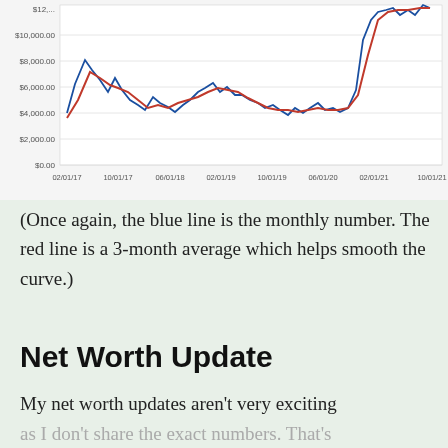[Figure (continuous-plot): Line chart showing two series (blue = monthly number, red = 3-month average) from 02/01/17 to 10/01/21. Y-axis ranges from $0.00 to over $12,000.00, with gridlines at $2,000, $4,000, $6,000, $8,000, $10,000. Both lines rise sharply near 02/01/21 to around $12,000+. Blue line is more volatile; red line is smoother.]
(Once again, the blue line is the monthly number. The red line is a 3-month average which helps smooth the curve.)
Net Worth Update
My net worth updates aren't very exciting as I don't share the exact numbers. That's why it's just a footnote here.